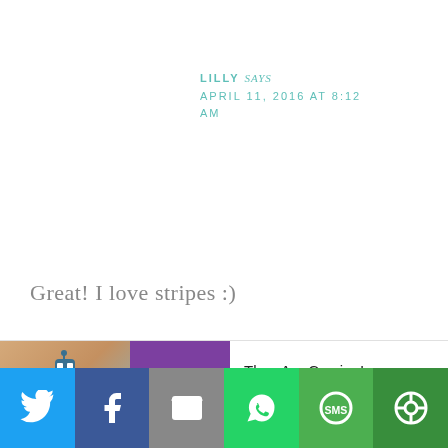LILLY says
APRIL 11, 2016 AT 8:12 AM
Great! I love stripes :)
Reply
[Figure (screenshot): Advertisement banner showing Rollic game ad with text 'They Are Coming!' and a Download button]
[Figure (infographic): Social share bar with Twitter, Facebook, Email, WhatsApp, SMS, and another share button icons]